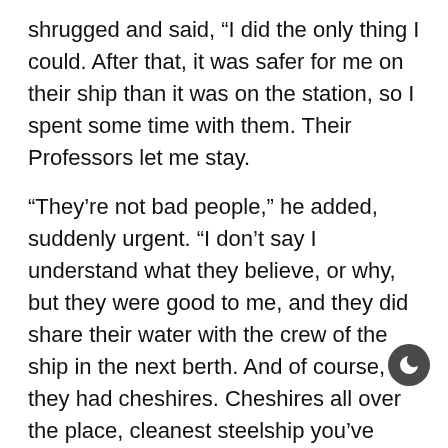shrugged and said, “I did the only thing I could. After that, it was safer for me on their ship than it was on the station, so I spent some time with them. Their Professors let me stay.
“They’re not bad people,” he added, suddenly urgent. “I don’t say I understand what they believe, or why, but they were good to me, and they did share their water with the crew of the ship in the next berth. And of course, they had cheshires. Cheshires all over the place, cleanest steelship you’ve ever seen. There was a litter born right about the time the quarantine finally lifted. Jemima—the little girl I helped—she insisted they give me pick of the litter, and that was Mongoose.”
Mongoose, knowing the shape of her own